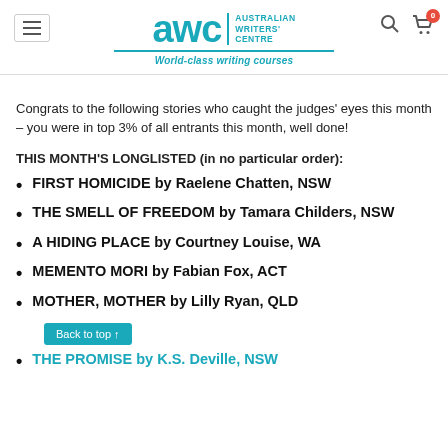[Figure (logo): Australian Writers' Centre (AWC) logo with teal text and tagline 'World-class writing courses']
Congrats to the following stories who caught the judges' eyes this month – you were in top 3% of all entrants this month, well done!
THIS MONTH'S LONGLISTED (in no particular order):
FIRST HOMICIDE by Raelene Chatten, NSW
THE SMELL OF FREEDOM by Tamara Childers, NSW
A HIDING PLACE by Courtney Louise, WA
MEMENTO MORI by Fabian Fox, ACT
MOTHER, MOTHER by Lilly Ryan, QLD
THE PROMISE by K.S. Deville, NSW